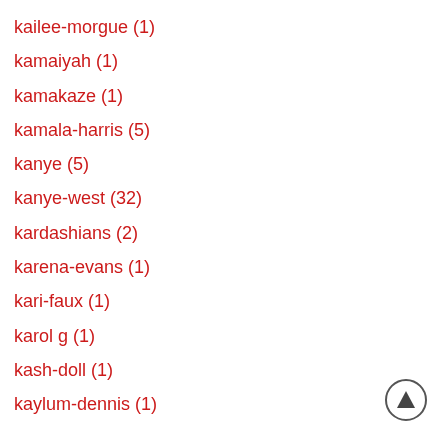kailee-morgue (1)
kamaiyah (1)
kamakaze (1)
kamala-harris (5)
kanye (5)
kanye-west (32)
kardashians (2)
karena-evans (1)
kari-faux (1)
karol g (1)
kash-doll (1)
kaylum-dennis (1)
[Figure (other): Scroll-to-top button: circle with upward-pointing triangle arrow]